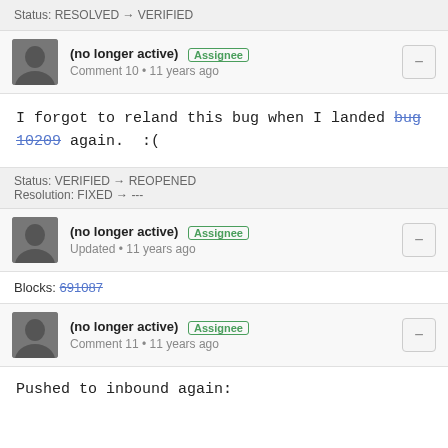Status: RESOLVED → VERIFIED
(no longer active) Assignee
Comment 10 • 11 years ago
I forgot to reland this bug when I landed bug 10209 again.  :(
Status: VERIFIED → REOPENED
Resolution: FIXED → ---
(no longer active) Assignee
Updated • 11 years ago
Blocks: 691087
(no longer active) Assignee
Comment 11 • 11 years ago
Pushed to inbound again: